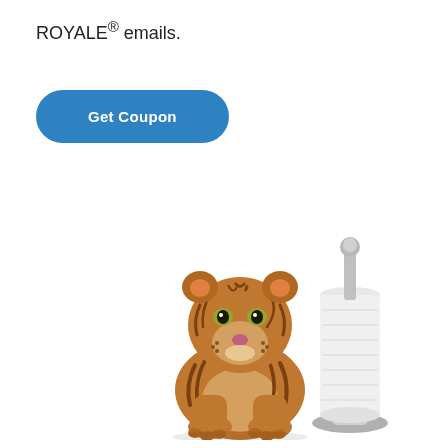ROYALE® emails.
[Figure (illustration): A blue rounded rectangle button labeled 'Get Coupon']
[Figure (photo): A baby tiger cub standing next to a paper towel roll on a silver stand, on a white background]